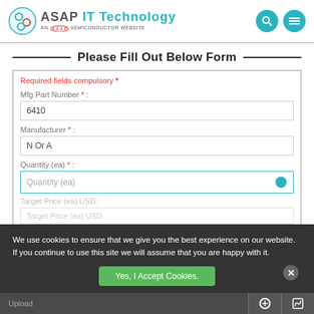[Figure (logo): ASAP IT Technology logo with gear icon and 'AN A.S.A.P. SEMICONDUCTOR WEBSITE' tagline, with search and menu icons on the right]
Please Fill Out Below Form
Required fields compulsory *
Mfg Part Number * :
6410
Manufacturer * :
N Or A
Quantity (ea) * :
Quantity (ea)
Target Price (ea) USD:
Target Price (ea) USD
We use cookies to ensure that we give you the best experience on our website. If you continue to use this site we will assume that you are happy with it.
Yes, I Accept Cookies.